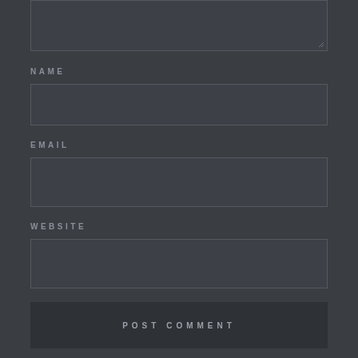[Figure (screenshot): Dark-themed comment form with textarea (top, partially visible), NAME label and input, EMAIL label and input, WEBSITE label and input, and POST COMMENT submit button]
NAME
EMAIL
WEBSITE
POST COMMENT